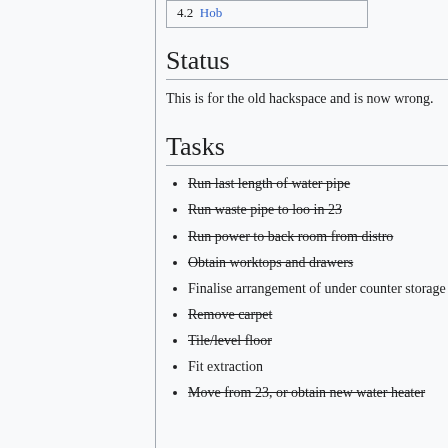4.2 Hob
Status
This is for the old hackspace and is now wrong.
Tasks
Run last length of water pipe
Run waste pipe to loo in 23
Run power to back room from distro
Obtain worktops and drawers
Finalise arrangement of under counter storage
Remove carpet
Tile/level floor
Fit extraction
Move from 23, or obtain new water heater